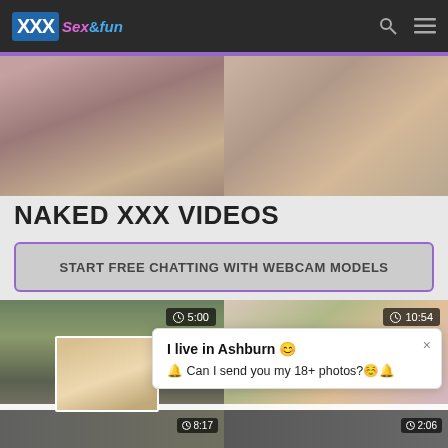XXX Sex&fun
[Figure (photo): Banner with two adult content video thumbnails side by side]
NAKED XXX VIDEOS
START FREE CHATTING WITH WEBCAM MODELS
[Figure (photo): Video thumbnail left: Naked outdoors, duration 5:00]
[Figure (photo): Video thumbnail right: Three people scene, duration 10:54]
Naked G... Creek Yo...
...deep   Pretty teenage teenager... ...mmmm lusty cammy milfs be...
I live in Ashburn 😊
🔔 Can I send you my 18+ photos?☺️🔔
[Figure (photo): Bottom strip thumbnails with durations 8:17 and 2:06]